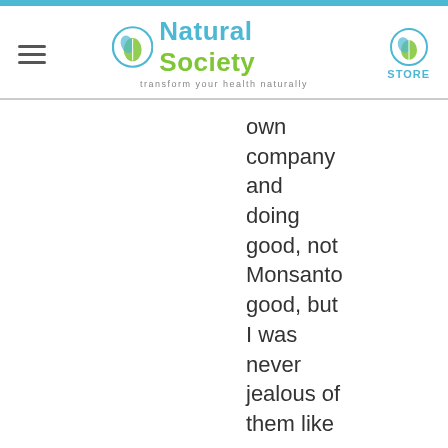Natural Society — Transform your health naturally | STORE
own company and doing good, not Monsanto good, but I was never jealous of them like you.
14.
fadestyle says: